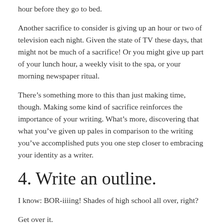hour before they go to bed.
Another sacrifice to consider is giving up an hour or two of television each night. Given the state of TV these days, that might not be much of a sacrifice! Or you might give up part of your lunch hour, a weekly visit to the spa, or your morning newspaper ritual.
There’s something more to this than just making time, though. Making some kind of sacrifice reinforces the importance of your writing. What’s more, discovering that what you’ve given up pales in comparison to the writing you’ve accomplished puts you one step closer to embracing your identity as a writer.
4. Write an outline.
I know: BOR-iiiing! Shades of high school all over, right?
Get over it.
While there are a handful of prolific writers who don’t outline (not formally, anyway – many still map out their writing in their heads),